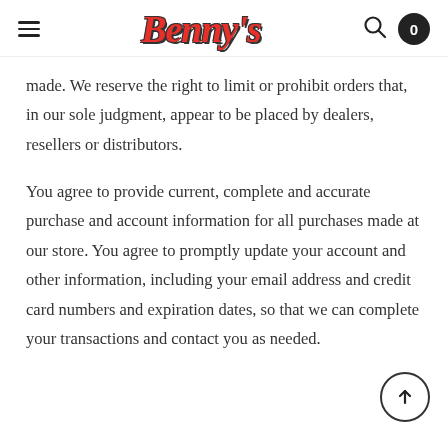Benny's
made. We reserve the right to limit or prohibit orders that, in our sole judgment, appear to be placed by dealers, resellers or distributors.
You agree to provide current, complete and accurate purchase and account information for all purchases made at our store. You agree to promptly update your account and other information, including your email address and credit card numbers and expiration dates, so that we can complete your transactions and contact you as needed.